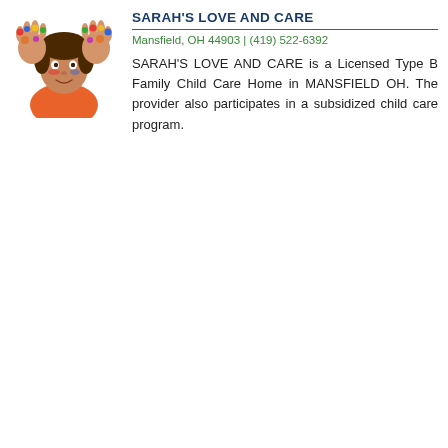[Figure (photo): Child with colorful painted hands held up in front of face, wearing an orange shirt, against a white background]
SARAH'S LOVE AND CARE
Mansfield, OH 44903 | (419) 522-6392
SARAH'S LOVE AND CARE is a Licensed Type B Family Child Care Home in MANSFIELD OH. The provider also participates in a subsidized child care program.